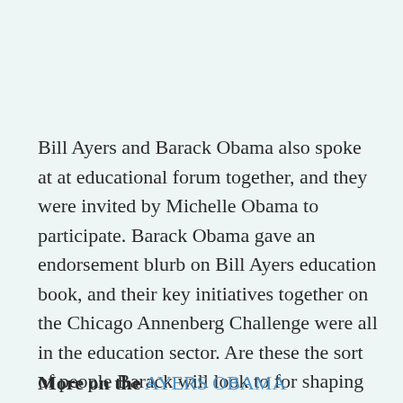Bill Ayers and Barack Obama also spoke at at educational forum together, and they were invited by Michelle Obama to participate. Barack Obama gave an endorsement blurb on Bill Ayers education book, and their key initiatives together on the Chicago Annenberg Challenge were all in the education sector. Are these the sort of people Barack will look to for shaping the education policy in America if he's elected?
More on the AYERS OBAMA connections and